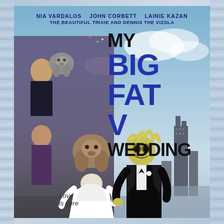[Figure (illustration): Movie poster parody of 'My Big Fat Greek Wedding' titled 'My Big Fat V Wedding'. Features a collage of people and animals (dogs, cats) in wedding attire, with a Chicago skyline in the background. Text credits: NIA VARDALOS, JOHN CORBETT, LAINIE KAZAN, THE BEAUTIFUL TRIXIE and DENNIS THE VIZSLA. Title text 'MY BIG FAT V WEDDING' in large bold letters. Bottom text reads 'Love is here'. Decorative swirling border pattern on left and right sides.]